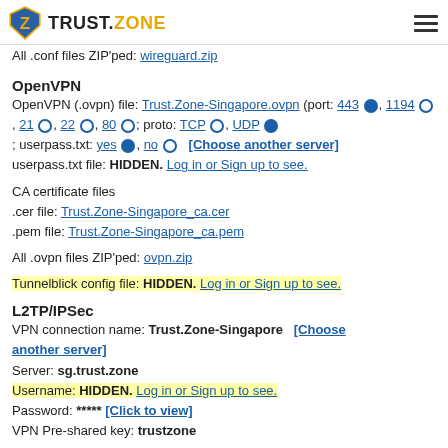TRUST.ZONE
All .conf files ZIP'ped: wireguard.zip
OpenVPN
OpenVPN (.ovpn) file: Trust.Zone-Singapore.ovpn (port: 443, 1194, 21, 22, 80; proto: TCP, UDP); userpass.txt: yes, no  [Choose another server]
userpass.txt file: HIDDEN. Log in or Sign up to see.
CA certificate files
.cer file: Trust.Zone-Singapore_ca.cer
.pem file: Trust.Zone-Singapore_ca.pem
All .ovpn files ZIP'ped: ovpn.zip
Tunnelblick config file: HIDDEN. Log in or Sign up to see.
L2TP/IPSec
VPN connection name: Trust.Zone-Singapore  [Choose another server]
Server: sg.trust.zone
Username: HIDDEN. Log in or Sign up to see.
Password: ***** [Click to view]
VPN Pre-shared key: trustzone
IKEv2